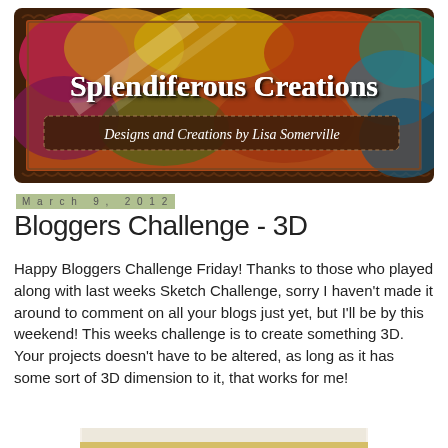[Figure (illustration): Blog header banner for 'Splendiferous Creations' with colorful abstract background featuring reds, yellows, greens, and blues. Main title text 'Splendiferous Creations' in large white serif font, and subtitle 'Designs and Creations by Lisa Somerville' on a dark brown banner. The whole image has a dark brown decorative scalloped border.]
March 9, 2012
Bloggers Challenge - 3D
Happy Bloggers Challenge Friday!  Thanks to those who played along with last weeks Sketch Challenge, sorry I haven't made it around to comment on all your blogs just yet, but I'll be by this weekend!  This weeks challenge is to create something 3D.  Your projects doesn't have to be altered, as long as it has some sort of 3D dimension to it, that works for me!
[Figure (photo): Partial view of a photo at the bottom of the page, appears to show a crafted 3D project with light/cream background and what looks like a gold or metallic element at the bottom edge.]